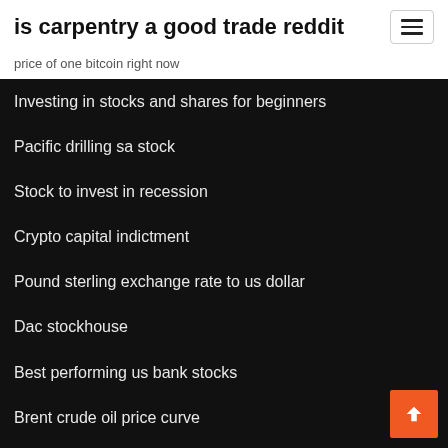is carpentry a good trade reddit
price of one bitcoin right now
Investing in stocks and shares for beginners
Pacific drilling sa stock
Stock to invest in recession
Crypto capital indictment
Pound sterling exchange rate to us dollar
Dac stockhouse
Best performing us bank stocks
Brent crude oil price curve
Good investment stocks
Free trading software